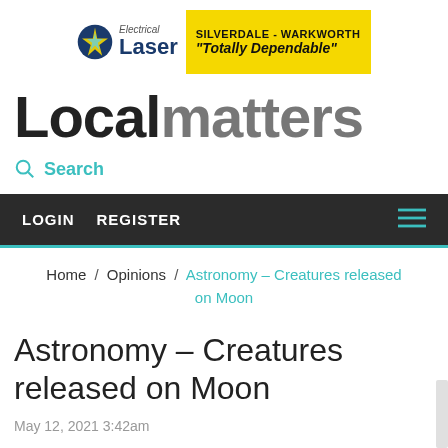[Figure (logo): Laser Electrical advertisement banner. Logo shows a blue star icon with 'Electrical Laser' text and a yellow box reading 'SILVERDALE - WARKWORTH "Totally Dependable"']
Localmatters
Search
LOGIN   REGISTER
Home / Opinions / Astronomy – Creatures released on Moon
Astronomy – Creatures released on Moon
May 12, 2021 3:42am